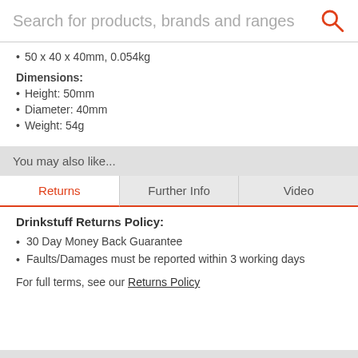Search for products, brands and ranges
50 x 40 x 40mm, 0.054kg
Dimensions:
Height: 50mm
Diameter: 40mm
Weight: 54g
You may also like...
Returns | Further Info | Video
Drinkstuff Returns Policy:
30 Day Money Back Guarantee
Faults/Damages must be reported within 3 working days
For full terms, see our Returns Policy